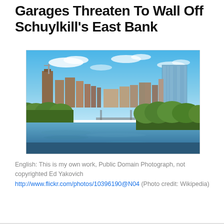Garages Threaten To Wall Off Schuylkill's East Bank
[Figure (photo): Aerial view of Philadelphia skyline from the Schuylkill River, showing skyscrapers on both sides of the river with green tree-lined banks and blue sky with clouds]
English: This is my own work, Public Domain Photograph, not copyrighted Ed Yakovich http://www.flickr.com/photos/10396190@N04 (Photo credit: Wikipedia)